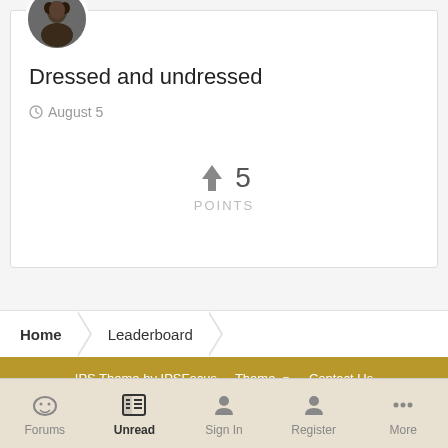[Figure (photo): Circular user avatar photo showing a person, displayed at top-left of the card]
Dressed and undressed
August 5
5 POINTS
Home  Leaderboard
IPS Theme by IPSFocus  Theme  Contact Us
By using this website you are confirming you are over 18, and agree to our terms & conditions.
Powered by Invision Community
Forums  Unread  Sign In  Register  More